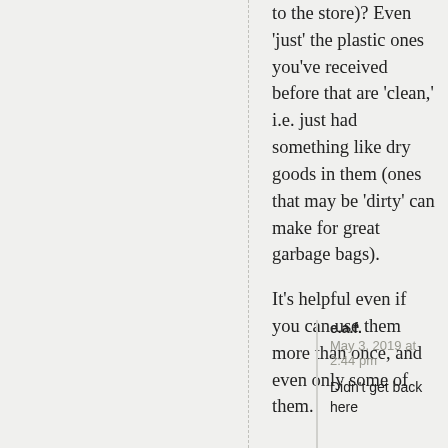to the store)? Even 'just' the plastic ones you've received before that are 'clean,' i.e. just had something like dry goods in them (ones that may be 'dirty' can make for great garbage bags).
It's helpful even if you can use them more than once, and even only some of them.
e.a.f.
May 3, 2019 at 2:44 pm

Didn't get back here